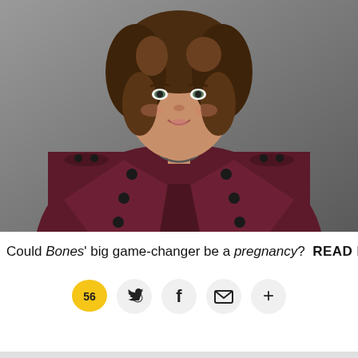[Figure (photo): Woman with curly brown hair wearing a dark burgundy double-breasted coat with black buttons and a necklace, photographed against a gray background. She is looking to the side with a slight smile.]
Could Bones' big game-changer be a pregnancy? READ MORE
[Figure (infographic): Social sharing bar with comment count 56 (speech bubble icon), Twitter bird icon, Facebook f icon, email envelope icon, and plus icon. All icons in circular light gray buttons.]